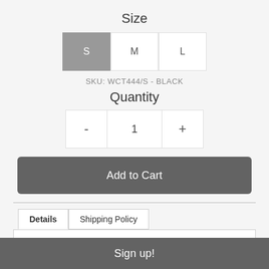Size
S  M  L
SKU: WCT444/S - BLACK
Quantity
- 1 +
Add to Cart
Details  Shipping Policy
The 'Peni' Crop Top is a cotton rib fitted strap top with a small skull patch on the front.
Sign up!